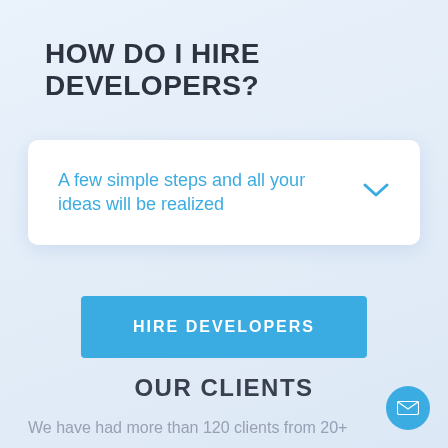HOW DO I HIRE DEVELOPERS?
A few simple steps and all your ideas will be realized
HIRE DEVELOPERS
OUR CLIENTS
We have had more than 120 clients from 20+